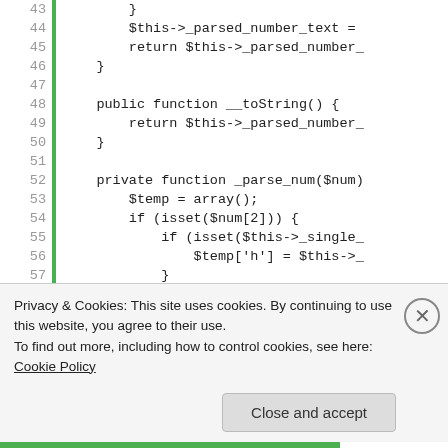[Figure (screenshot): Code editor screenshot showing PHP code lines 43-60 with line numbers on the left, a green vertical bar, and monospace code text. Lines show methods including __toString() and private function _parse_num($num) with array and isset operations.]
Privacy & Cookies: This site uses cookies. By continuing to use this website, you agree to their use.
To find out more, including how to control cookies, see here: Cookie Policy